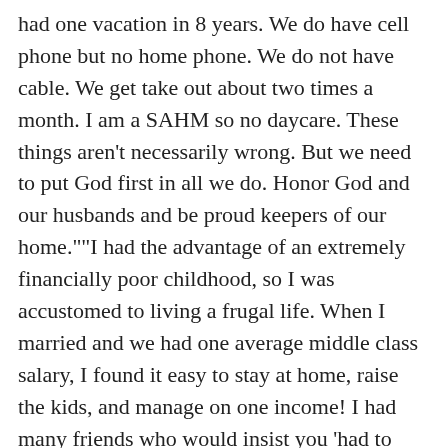had one vacation in 8 years. We do have cell phone but no home phone. We do not have cable. We get take out about two times a month. I am a SAHM so no daycare. These things aren't necessarily wrong. But we need to put God first in all we do. Honor God and our husbands and be proud keepers of our home.""I had the advantage of an extremely financially poor childhood, so I was accustomed to living a frugal life. When I married and we had one average middle class salary, I found it easy to stay at home, raise the kids, and manage on one income! I had many friends who would insist you 'had to have two incomes' to survive. I was completely confused. I analyzed the difference in our lives. They had new cars; I drove the same one for 13 years. They had more STUFF, and we had more PEACE. I would be beyond depressed if I had traded those days of raising our children for STUFF. None of which they still have. I have all the memories, and they don't after going to work and being